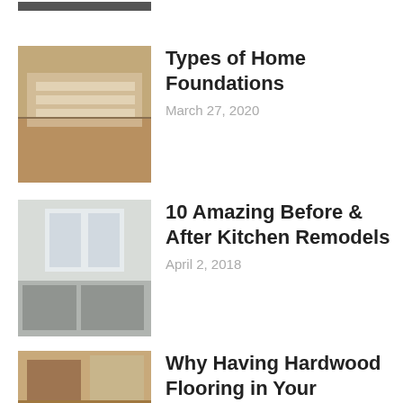[Figure (photo): Partial thumbnail of a home interior, cropped at top]
[Figure (photo): Home foundation construction with concrete block walls]
Types of Home Foundations
March 27, 2020
[Figure (photo): Kitchen interior with white cabinets and french doors]
10 Amazing Before & After Kitchen Remodels
April 2, 2018
[Figure (photo): Bathroom with hardwood flooring, bathtub and vanity]
Why Having Hardwood Flooring in Your Bathroom Isn't a Good Idea
September 24, 2018
[Figure (photo): Kitchen interior with wooden cabinets and island]
Which Household Improvements Spend Off?
February 27, 2017